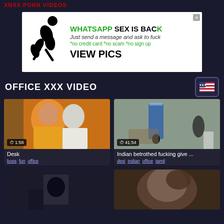XNXX PORN VIDEOS
[Figure (illustration): Advertisement banner: WHATSAPP SEX IS BACK - Just send a message and ask to fuck - *no credit card *no scam *no sign up - VIEW PICS]
OFFICE XXX VIDEO
[Figure (screenshot): Video thumbnail: woman in yellow floral top with mask around neck, man behind her, duration 1:58]
Desk
boss fun office
[Figure (screenshot): Video thumbnail: office room with two people standing, blue light, duration 41:54]
Indian betrothed fucking give ...
desi indian office tamil
[Figure (screenshot): Video thumbnail: dark office scene]
[Figure (screenshot): Video thumbnail: close-up dark scene]